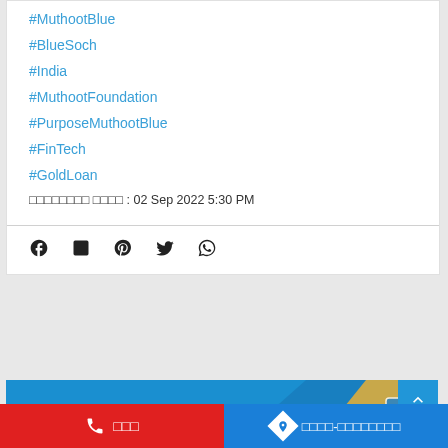#MuthootBlue
#BlueSoch
#India
#MuthootFoundation
#PurposeMuthootBlue
#FinTech
#GoldLoan
□□□□□□□□ □□□□ : 02 Sep 2022 5:30 PM
[Figure (infographic): Social share icons: Facebook, LinkedIn, Pinterest, Twitter, WhatsApp]
[Figure (photo): Blue and gold banner image for Muthoot Foundation]
□□□ | □□□□-□□□□□□□□